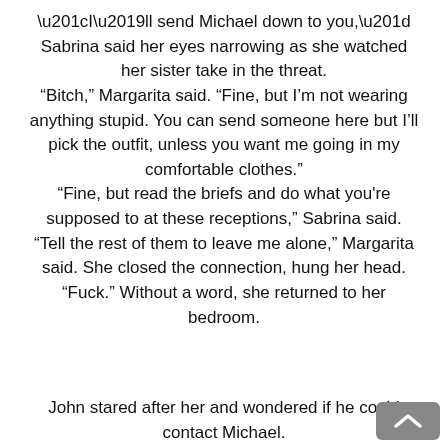“I’ll send Michael down to you,” Sabrina said her eyes narrowing as she watched her sister take in the threat. “Bitch,” Margarita said. “Fine, but I’m not wearing anything stupid. You can send someone here but I’ll pick the outfit, unless you want me going in my comfortable clothes.” “Fine, but read the briefs and do what you're supposed to at these receptions,” Sabrina said. “Tell the rest of them to leave me alone,” Margarita said. She closed the connection, hung her head. “Fuck.” Without a word, she returned to her bedroom.
John stared after her and wondered if he could contact Michael.